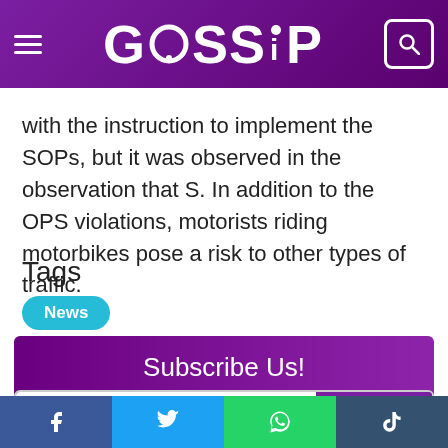GOSSIP
with the instruction to implement the SOPs, but it was observed in the observation that S. In addition to the OPS violations, motorists riding motorbikes pose a risk to other types of traffic.
Tags
News
Subscribe Us!
xyz@example.com  Subscribe
Latest Mobiles